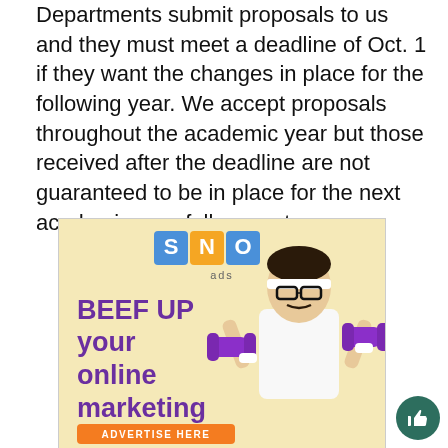Departments submit proposals to us and they must meet a deadline of Oct. 1 if they want the changes in place for the following year. We accept proposals throughout the academic year but those received after the deadline are not guaranteed to be in place for the next academic year fall semester.
[Figure (illustration): SNO ads advertisement banner with yellow background, SNO logo with colored letter boxes, text 'BEEF UP your online marketing' in purple, a person lifting purple dumbbells wearing glasses and headband, and an orange 'ADVERTISE HERE' button.]